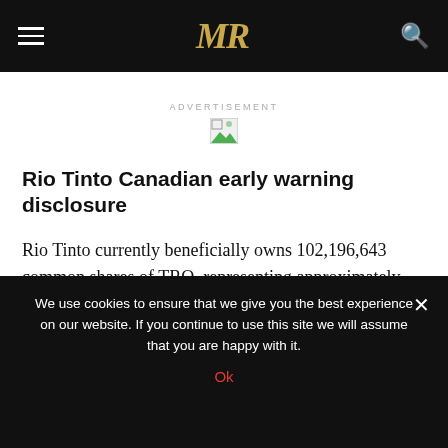MR (logo nav bar with hamburger menu and search icon)
ADVERTISEMENT
[Figure (other): Broken/loading advertisement image placeholder]
Rio Tinto Canadian early warning disclosure
Rio Tinto currently beneficially owns 102,196,643 common shares of TRQ, representing approximately 50.8% of the issued and outstanding common shares of TRQ. Rio Tinto also has anti-dilution rights that permit
We use cookies to ensure that we give you the best experience on our website. If you continue to use this site we will assume that you are happy with it. Ok